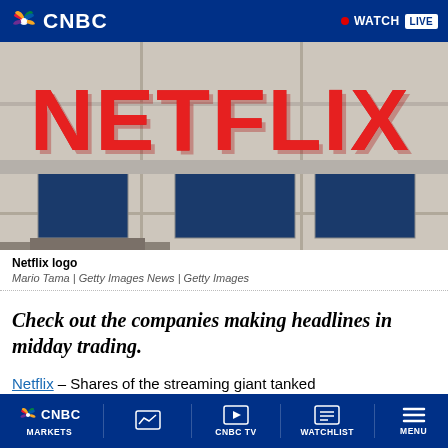CNBC | WATCH LIVE
[Figure (photo): Netflix logo sign on a building exterior, large red block letters spelling NETFLIX, with blue window panels visible below, photographed from below]
Netflix logo
Mario Tama | Getty Images News | Getty Images
Check out the companies making headlines in midday trading.
Netflix – Shares of the streaming giant tanked
CNBC MARKETS | CNBC TV | WATCHLIST | MENU